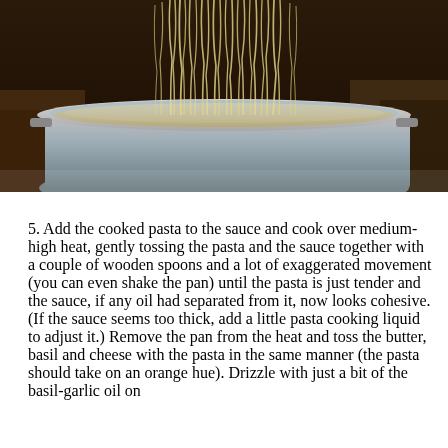[Figure (photo): Close-up of cooked spaghetti noodles being lifted out of a large silver pot of boiling water, with strands hanging down. Dark kitchen background.]
5. Add the cooked pasta to the sauce and cook over medium-high heat, gently tossing the pasta and the sauce together with a couple of wooden spoons and a lot of exaggerated movement (you can even shake the pan) until the pasta is just tender and the sauce, if any oil had separated from it, now looks cohesive. (If the sauce seems too thick, add a little pasta cooking liquid to adjust it.) Remove the pan from the heat and toss the butter, basil and cheese with the pasta in the same manner (the pasta should take on an orange hue). Drizzle with just a bit of the basil-garlic oil on